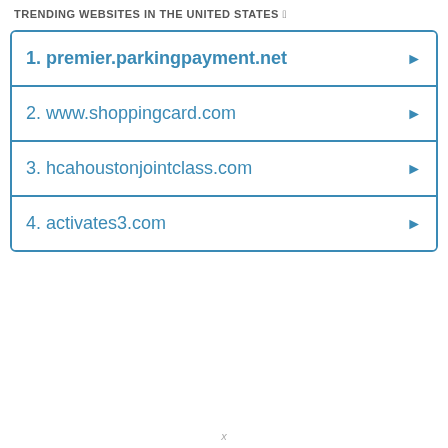TRENDING WEBSITES IN THE UNITED STATES
1. premier.parkingpayment.net
2. www.shoppingcard.com
3. hcahoustonjointclass.com
4. activates3.com